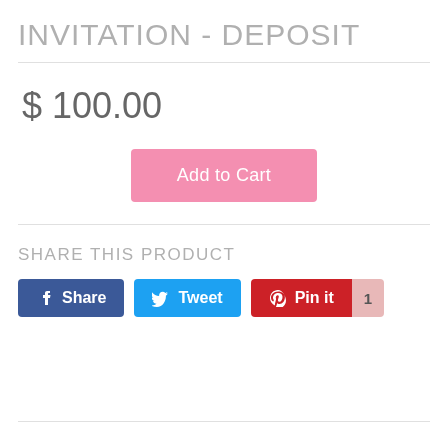INVITATION - DEPOSIT
$ 100.00
[Figure (other): Add to Cart button (pink)]
SHARE THIS PRODUCT
[Figure (other): Social sharing buttons: Facebook Share, Twitter Tweet, Pinterest Pin it with count 1]